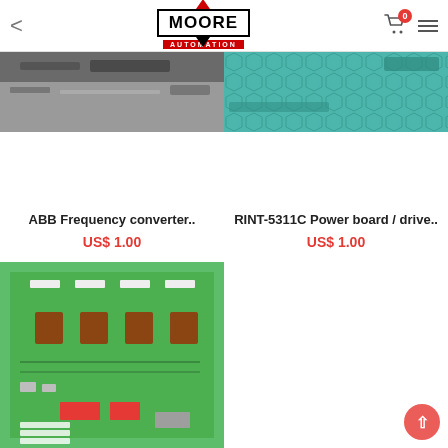Moore Automation — navigation header with logo, cart (0 items), and menu
[Figure (photo): Top-left product image — partially visible circuit board / industrial component photo]
[Figure (photo): Top-right product image — green circuit board close-up]
ABB Frequency converter..
US$ 1.00
RINT-5311C Power board / drive..
US$ 1.00
[Figure (photo): Bottom-left product image — green PCB board with orange/brown transformer components and red connectors]
[Figure (photo): Bottom-right product image — green PCB board with blue capacitors and red circular coil/transformer]